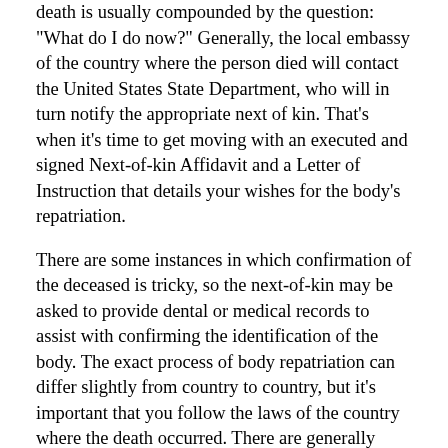death is usually compounded by the question: "What do I do now?" Generally, the local embassy of the country where the person died will contact the United States State Department, who will in turn notify the appropriate next of kin. That's when it's time to get moving with an executed and signed Next-of-kin Affidavit and a Letter of Instruction that details your wishes for the body's repatriation.
There are some instances in which confirmation of the deceased is tricky, so the next-of-kin may be asked to provide dental or medical records to assist with confirming the identification of the body. The exact process of body repatriation can differ slightly from country to country, but it's important that you follow the laws of the country where the death occurred. There are generally three different methods of body repatriation.
The first is Local Cremation and Return of Cremains. Cremation is usually available in most countries. However, cremation might be more costly or less available in countries that are predominately Muslim or Catholic. You can also choose Local Burial. Local burial is possible if the country in which the death occurred allows for burial of foreign nationals. The local embassy will generally make burial arrangements and send the next-of-kin the details.